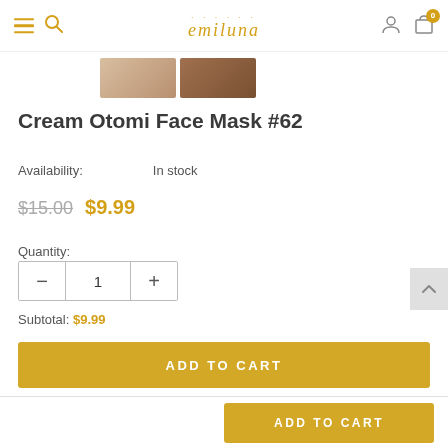emiluna navigation header with hamburger menu, search, logo, user icon, cart (0)
[Figure (photo): Two product thumbnail images of the cream otomi face mask]
Cream Otomi Face Mask #62
Availability: In stock
$15.00  $9.99
Quantity:
- 1 +
Subtotal: $9.99
ADD TO CART
ADD TO CART